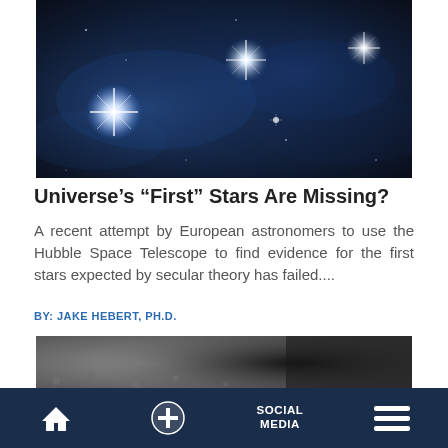[Figure (photo): Deep space image with bright star flares against a dark blue nebular background]
Universe’s “First” Stars Are Missing?
A recent attempt by European astronomers to use the Hubble Space Telescope to find evidence for the first stars expected by secular theory has failed....
BY: JAKE HEBERT, PH.D.
[Figure (photo): Close-up grey textured surface, partially dark, suggesting a rocky or lunar terrain]
Home | + | SOCIAL MEDIA | Menu